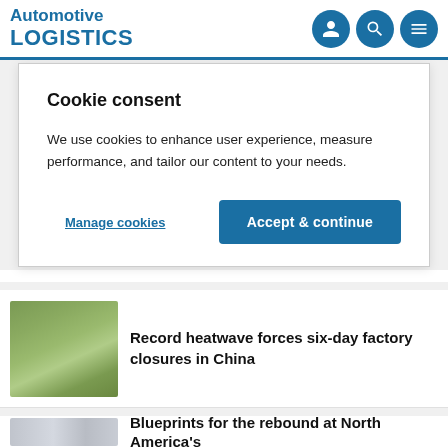Automotive LOGISTICS
Cookie consent
We use cookies to enhance user experience, measure performance, and tailor our content to your needs.
Manage cookies | Accept & continue
[Figure (photo): Railway tracks receding into distance through green vegetation]
Record heatwave forces six-day factory closures in China
[Figure (photo): Aerial view of large factory/industrial complex with green surroundings]
Blueprints for the rebound at North America's
[Figure (photo): Blueprint/schematic engineering diagram]